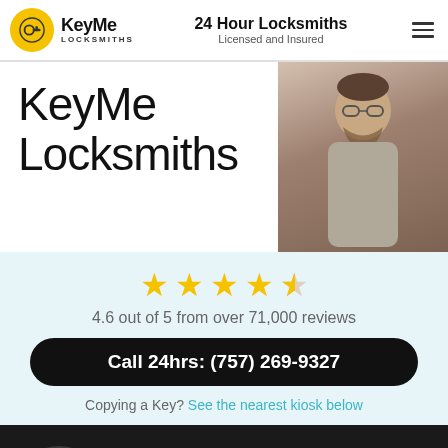KeyMe Locksmiths | 24 Hour Locksmiths Licensed and Insured
KeyMe Locksmiths
[Figure (photo): Man with glasses and beard looking downward, wearing a grey t-shirt]
4.6 out of 5 from over 71,000 reviews
Call 24hrs: (757) 269-9327
Copying a Key? See the nearest kiosk below
Emergencies
Average arrival time is 29 minutes
Call now: (757) 269-9327